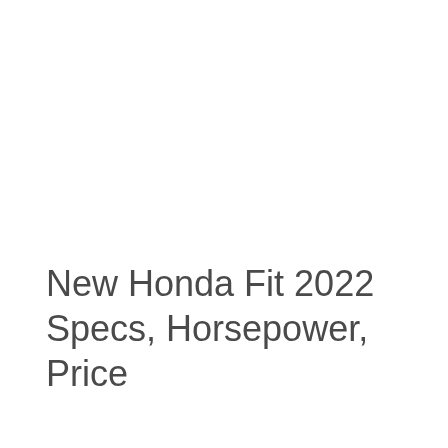New Honda Fit 2022 Specs, Horsepower, Price